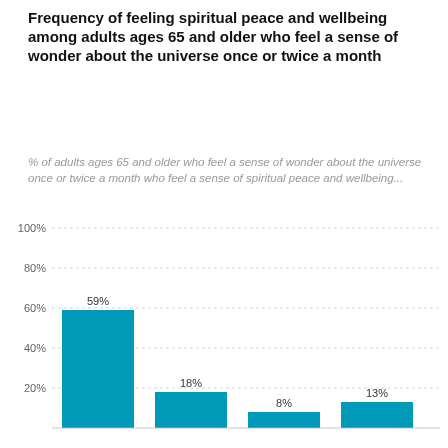Frequency of feeling spiritual peace and wellbeing among adults ages 65 and older who feel a sense of wonder about the universe once or twice a month
% of adults ages 65 and older who feel a sense of wonder about the universe once or twice a month who feel a sense of spiritual peace and wellbeing...
[Figure (bar-chart): Frequency of feeling spiritual peace and wellbeing]